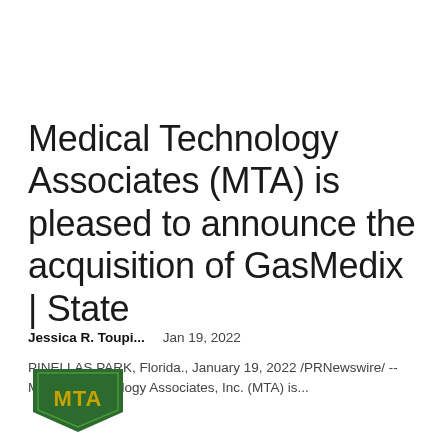Medical Technology Associates (MTA) is pleased to announce the acquisition of GasMedix | State
Jessica R. Toupi...    Jan 19, 2022
PINELLAS PARK, Florida., January 19, 2022 /PRNewswire/ -- Medical Technology Associates, Inc. (MTA) is...
[Figure (logo): MTA (Medical Technology Associates) logo — dark green chevron/arrow shield shape with 'MTA' letters in gold/yellow inside]